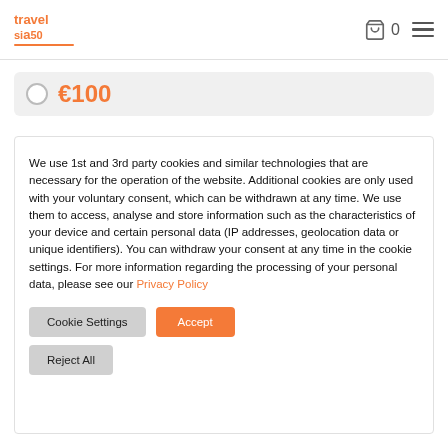travel si50 | 0
€100
We use 1st and 3rd party cookies and similar technologies that are necessary for the operation of the website. Additional cookies are only used with your voluntary consent, which can be withdrawn at any time. We use them to access, analyse and store information such as the characteristics of your device and certain personal data (IP addresses, geolocation data or unique identifiers). You can withdraw your consent at any time in the cookie settings. For more information regarding the processing of your personal data, please see our Privacy Policy
Cookie Settings | Accept
Reject All